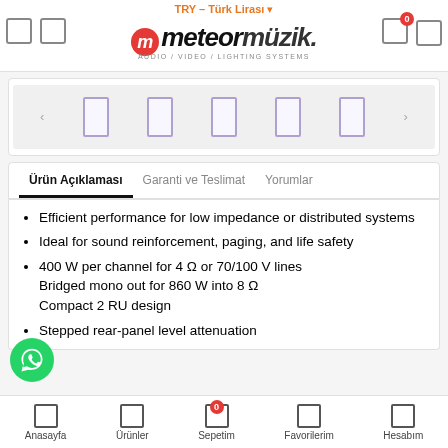TRY – Türk Lirası | meteor müzik logo
[Figure (screenshot): Product image carousel with thumbnail images]
Ürün Açıklaması | Garanti ve Teslimat | Yorumlar
Efficient performance for low impedance or distributed systems
Ideal for sound reinforcement, paging, and life safety
400 W per channel for 4 Ω or 70/100 V lines
Bridged mono out for 860 W into 8 Ω
Compact 2 RU design
Stepped rear-panel level attenuation
Anasayfa | Ürünler | Sepetim | Favorilerim | Hesabım